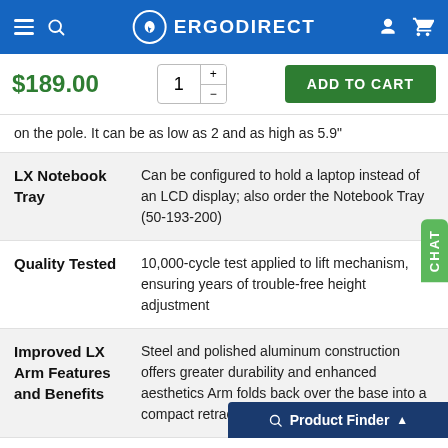ERGODIRECT
$189.00  1  ADD TO CART
on the pole. It can be as low as 2 and as high as 5.9"
| Feature | Description |
| --- | --- |
| LX Notebook Tray | Can be configured to hold a laptop instead of an LCD display; also order the Notebook Tray (50-193-200) |
| Quality Tested | 10,000-cycle test applied to lift mechanism, ensuring years of trouble-free height adjustment |
| Improved LX Arm Features and Benefits | Steel and polished aluminum construction offers greater durability and enhanced aesthetics Arm folds back over the base into a compact retract... for tucking under... |